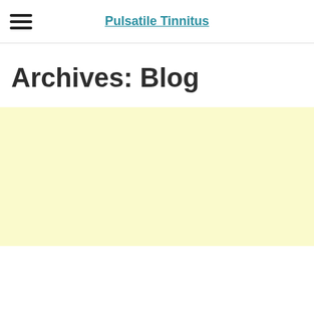Pulsatile Tinnitus
Archives: Blog
[Figure (other): Light yellow advertisement or content placeholder block]
v